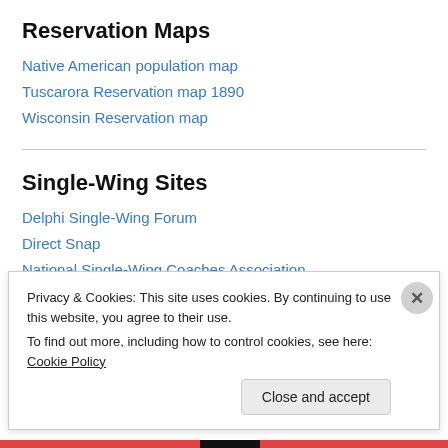Reservation Maps
Native American population map
Tuscarora Reservation map 1890
Wisconsin Reservation map
Single-Wing Sites
Delphi Single-Wing Forum
Direct Snap
National Single-Wing Coaches Association
Pop Warner's Single-Wing Trilogy
Single-Wing Hall of Fame
Privacy & Cookies: This site uses cookies. By continuing to use this website, you agree to their use.
To find out more, including how to control cookies, see here: Cookie Policy
Close and accept